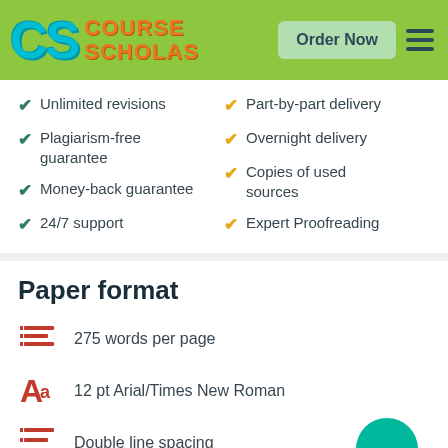[Figure (logo): Course Scholas logo with CS letters in teal and Course Scholas in orange, on green background with Order Now button and hamburger menu]
Unlimited revisions
Part-by-part delivery
Plagiarism-free guarantee
Overnight delivery
Money-back guarantee
Copies of used sources
24/7 support
Expert Proofreading
Paper format
275 words per page
12 pt Arial/Times New Roman
Double line spacing